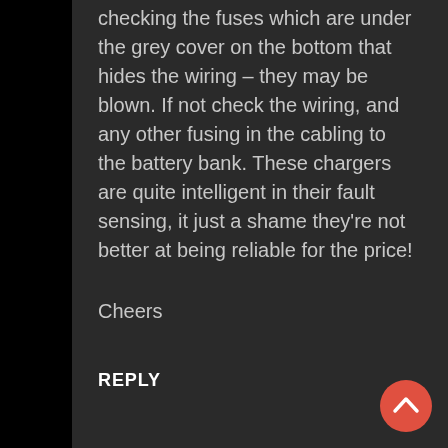checking the fuses which are under the grey cover on the bottom that hides the wiring – they may be blown. If not check the wiring, and any other fusing in the cabling to the battery bank. These chargers are quite intelligent in their fault sensing, it just a shame they're not better at being reliable for the price!
Cheers
REPLY
[Figure (other): Orange circular scroll-to-top button with an upward chevron arrow icon]